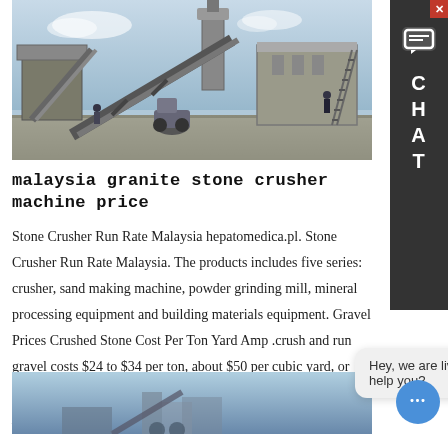[Figure (photo): Industrial stone crusher / concrete batching plant machinery outdoors with conveyor belts, silos, and workers visible]
malaysia granite stone crusher machine price
Stone Crusher Run Rate Malaysia hepatomedica.pl. Stone Crusher Run Rate Malaysia. The products includes five series: crusher, sand making machine, powder grinding mill, mineral processing equipment and building materials equipment. Gravel Prices Crushed Stone Cost Per Ton Yard Amp .crush and run gravel costs $24 to $34 per ton, about $50 per cubic yard, or $0.50 to $2.00 per square foot
Learn More
[Figure (photo): Partial bottom image of industrial machinery, blue/grey tones]
[Figure (screenshot): Dark grey CHAT sidebar widget with close button, speech bubble icon, and letters C H A T]
Hey, we are live 24/7. How may I help you?